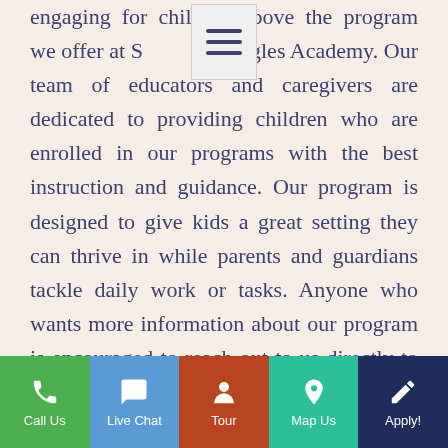engaging for children above the program we offer at S Eagles Academy. Our team of educators and caregivers are dedicated to providing children who are enrolled in our programs with the best instruction and guidance. Our program is designed to give kids a great setting they can thrive in while parents and guardians tackle daily work or tasks. Anyone who wants more information about our program is encouraged to reach out to us directly to get up to date information or to begin the process of registration. Let us help kids get the care they need in the afternoon with peace of mind.
Call Us | Live Chat | Tour | Map Us | Apply!